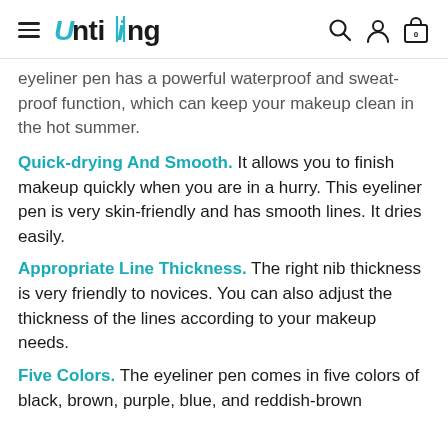Untiing
eyeliner pen has a powerful waterproof and sweat-proof function, which can keep your makeup clean in the hot summer.
Quick-drying And Smooth. It allows you to finish makeup quickly when you are in a hurry. This eyeliner pen is very skin-friendly and has smooth lines. It dries easily.
Appropriate Line Thickness. The right nib thickness is very friendly to novices. You can also adjust the thickness of the lines according to your makeup needs.
Five Colors. The eyeliner pen comes in five colors of black, brown, purple, blue, and reddish-brown